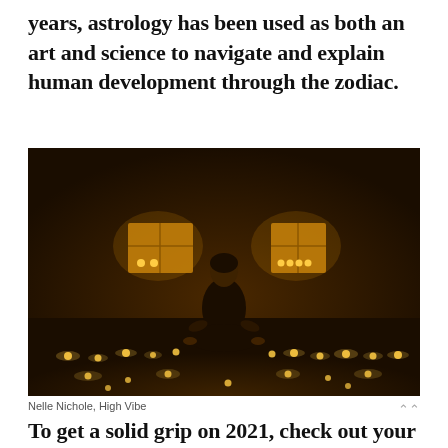years, astrology has been used as both an art and science to navigate and explain human development through the zodiac.
[Figure (photo): A person dressed in black sitting cross-legged on a dark floor surrounded by small glowing lights, with two illuminated windows visible in the background.]
Nelle Nichole, High Vibe
To get a solid grip on 2021, check out your